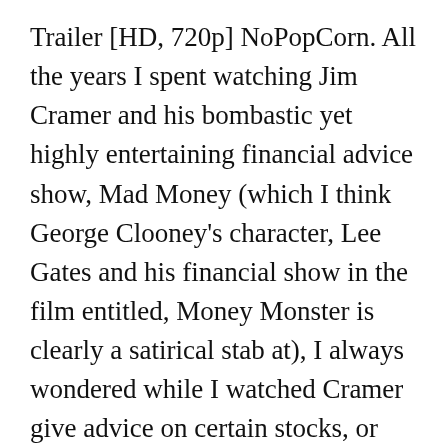Trailer [HD, 720p] NoPopCorn. All the years I spent watching Jim Cramer and his bombastic yet highly entertaining financial advice show, Mad Money (which I think George Clooney's character, Lee Gates and his financial show in the film entitled, Money Monster is clearly a satirical stab at), I always wondered while I watched Cramer give advice on certain stocks, or even recommending some as a must buy, or a do not sell, or do not buy, I always wondered whether anyone was really out anything by listening to Cramer and his advice. Movies and the media should be cautious about coming close to justifying violent reactions, especially as copycat behavior has been proved. Official Sites User Ratings Can't understand why it's